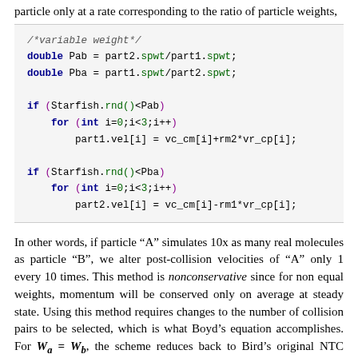particle only at a rate corresponding to the ratio of particle weights,
[Figure (screenshot): Code block showing Java/C++ variable weight collision logic with Pab and Pba probability variables and conditional velocity updates for part1 and part2]
In other words, if particle "A" simulates 10x as many real molecules as particle "B", we alter post-collision velocities of "A" only 1 every 10 times. This method is nonconservative since for non equal weights, momentum will be conserved only on average at steady state. Using this method requires changes to the number of collision pairs to be selected, which is what Boyd's equation accomplishes. For W_a = W_b, the scheme reduces back to Bird's original NTC algorithm. This is the